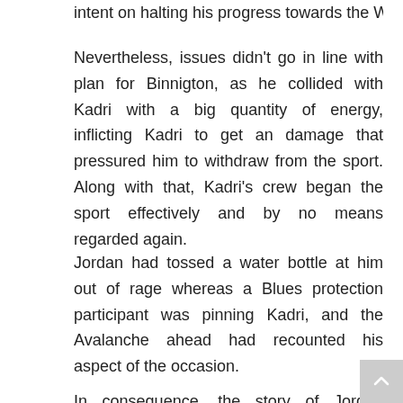intent on halting his progress towards the Web.
Nevertheless, issues didn't go in line with plan for Binnigton, as he collided with Kadri with a big quantity of energy, inflicting Kadri to get an damage that pressured him to withdraw from the sport. Along with that, Kadri's crew began the sport effectively and by no means regarded again.
Jordan had tossed a water bottle at him out of rage whereas a Blues protection participant was pinning Kadri, and the Avalanche ahead had recounted his aspect of the occasion.
In consequence, the story of Jordan Binnigton is required to bridge the hole in information between Binnigton and Kadri.